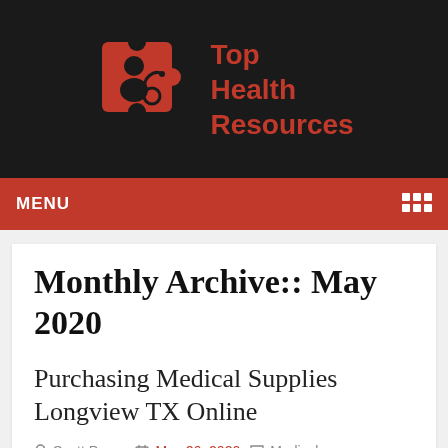[Figure (logo): Top Health Resources logo with orange puzzle piece and stethoscope icon on dark background]
MENU
Monthly Archive:: May 2020
Purchasing Medical Supplies Longview TX Online
Scott Perez   May 26, 2020   Medical Equipment   No Comments
If you are searching for a source of medical supplies